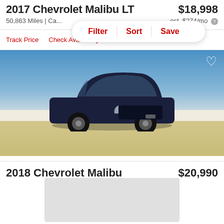2017 Chevrolet Malibu LT    $18,998
50,863 Miles | Ca...    est. $274/mo
Track Price    Check Availability
[Figure (screenshot): Filter / Sort / Save pill overlay on top of listing page]
[Figure (photo): Dark navy blue 2018 Chevrolet Malibu parked in an open lot under blue sky]
2018 Chevrolet Malibu    $20,990
[Figure (photo): Gray placeholder image for second car listing]